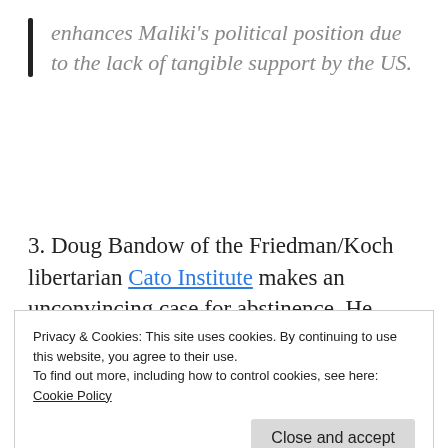enhances Maliki's political position due to the lack of tangible support by the US.
3. Doug Bandow of the Friedman/Koch libertarian Cato Institute makes an unconvincing case for abstinence. He comes
Privacy & Cookies: This site uses cookies. By continuing to use this website, you agree to their use.
To find out more, including how to control cookies, see here:
Cookie Policy
Close and accept
correctly points out that the ISIS has plenty of